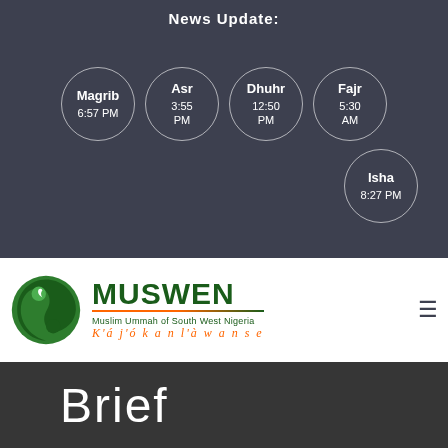News Update:
[Figure (infographic): Five Islamic prayer time circles on dark background: Magrib 6:57 PM, Asr 3:55 PM, Dhuhr 12:50 PM, Fajr 5:30 AM, Isha 8:27 PM]
[Figure (logo): MUSWEN logo - green swirl circle icon with MUSWEN text, subtitle 'Muslim Ummah of South West Nigeria' and tagline 'K'áj'ókan l'àwa n se' in orange italic]
Brief